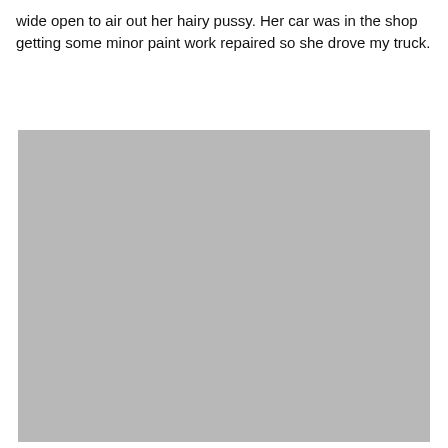wide open to air out her hairy pussy. Her car was in the shop getting some minor paint work repaired so she drove my truck.
[Figure (photo): A large grey/silver placeholder image block occupying the lower portion of the page.]